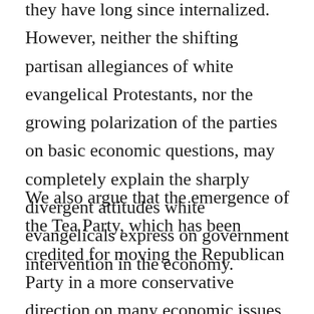they have long since internalized. However, neither the shifting partisan allegiances of white evangelical Protestants, nor the growing polarization of the parties on basic economic questions, may completely explain the sharply divergent attitudes white evangelicals express on government intervention in the economy.
We also argue that the emergence of the Tea Party, which has been credited for moving the Republican Party in a more conservative direction on many economic issues, may have played a role as well. Tea Party organizations, in collaboration with conservative think tanks and